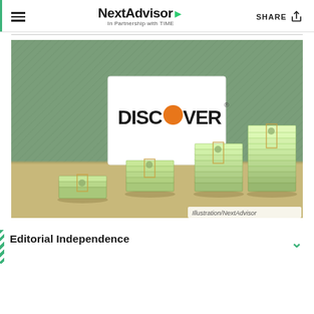NextAdvisor In Partnership with TIME | SHARE
[Figure (illustration): Illustration of a Discover credit card displayed on a green background with four stacks of dollar bills of increasing height in front of it. Caption reads Illustration/NextAdvisor.]
Editorial Independence